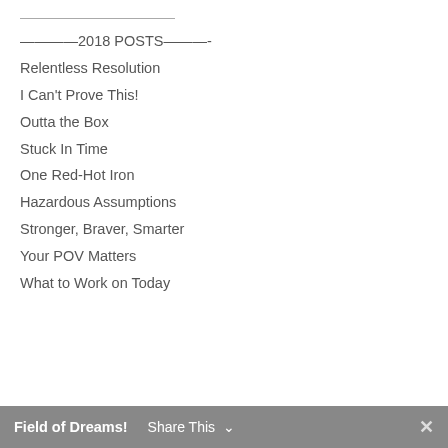————2018 POSTS———-
Relentless Resolution
I Can't Prove This!
Outta the Box
Stuck In Time
One Red-Hot Iron
Hazardous Assumptions
Stronger, Braver, Smarter
Your POV Matters
What to Work on Today
Field of Dreams!  Share This  ✕